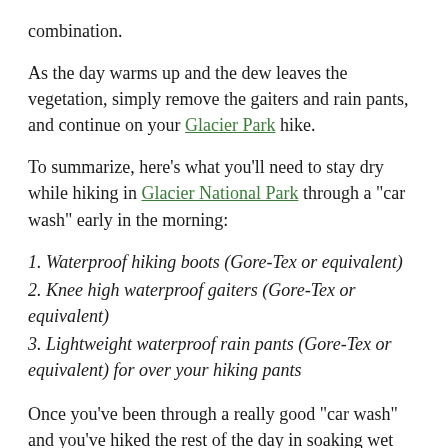combination.
As the day warms up and the dew leaves the vegetation, simply remove the gaiters and rain pants, and continue on your Glacier Park hike.
To summarize, here's what you'll need to stay dry while hiking in Glacier National Park through a "car wash" early in the morning:
1. Waterproof hiking boots (Gore-Tex or equivalent)
2. Knee high waterproof gaiters (Gore-Tex or equivalent)
3. Lightweight waterproof rain pants (Gore-Tex or equivalent) for over your hiking pants
Once you've been through a really good "car wash" and you've hiked the rest of the day in soaking wet boots and socks, we can assure you that you will understand the need for this apparel. Glacier National Park provides some of the best